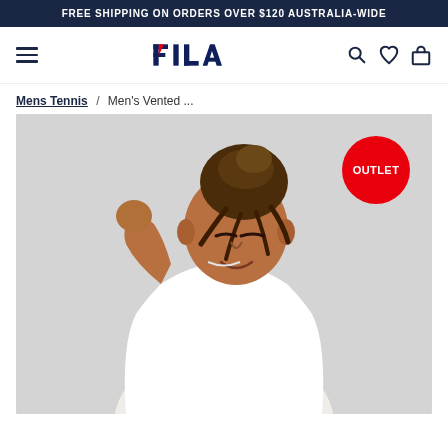FREE SHIPPING ON ORDERS OVER $120 AUSTRALIA-WIDE
[Figure (logo): FILA logo in navy and red with hamburger menu, search, wishlist, and cart icons]
Mens Tennis / Men's Vented ...
[Figure (photo): A man with dreadlocks in a bun wearing a white FILA t-shirt, looking down, with an OUTLET badge in the top right corner]